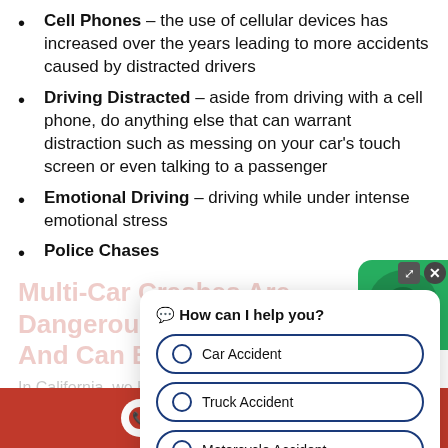Cell Phones – the use of cellular devices has increased over the years leading to more accidents caused by distracted drivers
Driving Distracted – aside from driving with a cell phone, do anything else that can warrant distraction such as messing on your car's touch screen or even talking to a passenger
Emotional Driving – driving while under intense emotional stress
Police Chases
Multi-Car Crashes Are Dangerous And Can Be Deadly
In California, we have many congested highways that people use to get to major cities like Los Angeles for example. In these conditions, all it takes is one driver who's momentarily distracted to cause a massive chain
[Figure (screenshot): Chat widget overlay with 'How can I help you?' header and options: Car Accident, Truck Accident, Motorcycle Accident]
(909) 361-3907